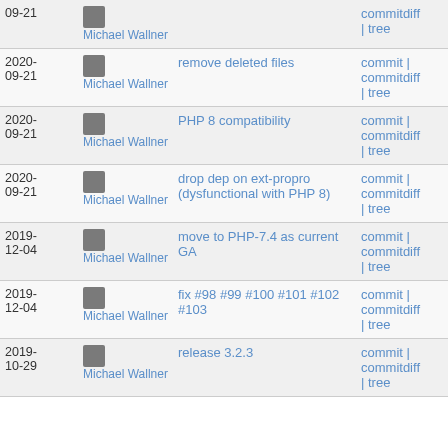| Date | Author | Message | Links |
| --- | --- | --- | --- |
| 09-21 | Michael Wallner |  | commitdiff | tree |
| 2020-09-21 | Michael Wallner | remove deleted files | commit | commitdiff | tree |
| 2020-09-21 | Michael Wallner | PHP 8 compatibility | commit | commitdiff | tree |
| 2020-09-21 | Michael Wallner | drop dep on ext-propro (dysfunctional with PHP 8) | commit | commitdiff | tree |
| 2019-12-04 | Michael Wallner | move to PHP-7.4 as current GA | commit | commitdiff | tree |
| 2019-12-04 | Michael Wallner | fix #98 #99 #100 #101 #102 #103 | commit | commitdiff | tree |
| 2019-10-29 | Michael Wallner | release 3.2.3 | commit | commitdiff | tree |